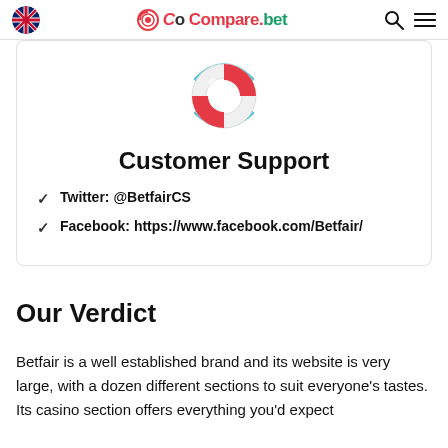Compare.bet
[Figure (illustration): Life preserver / lifesaver ring icon in red and white with blue arc elements]
Customer Support
Twitter: @BetfairCS
Facebook: https://www.facebook.com/Betfair/
Our Verdict
Betfair is a well established brand and its website is very large, with a dozen different sections to suit everyone's tastes. Its casino section offers everything you'd expect